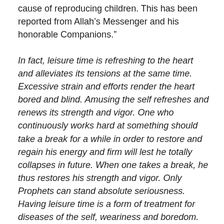cause of reproducing children. This has been reported from Allah’s Messenger and his honorable Companions.”
In fact, leisure time is refreshing to the heart and alleviates its tensions at the same time. Excessive strain and efforts render the heart bored and blind. Amusing the self refreshes and renews its strength and vigor. One who continuously works hard at something should take a break for a while in order to restore and regain his energy and firm will lest he totally collapses in future. When one takes a break, he thus restores his strength and vigor. Only Prophets can stand absolute seriousness. Having leisure time is a form of treatment for diseases of the self, weariness and boredom. But, leisure should not be excessive. This will go against the whole issue of rejoicing hearts to make them able to go on.